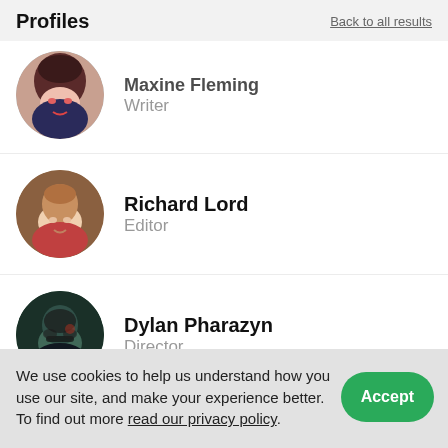Profiles
Back to all results
Maxine Fleming – Writer (partially visible)
Richard Lord – Editor
Dylan Pharazyn – Director
We use cookies to help us understand how you use our site, and make your experience better. To find out more read our privacy policy.